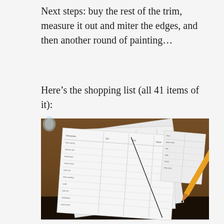Next steps: buy the rest of the trim, measure it out and miter the edges, and then another round of painting…
Here's the shopping list (all 41 items of it):
[Figure (photo): A photograph of several handwritten sheets of paper spread out on a wooden table, with a pencil resting on them. The papers appear to contain shopping lists or planning notes with hand-drawn tables and written entries.]